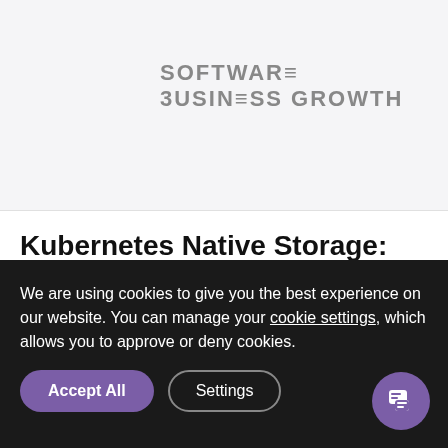[Figure (logo): Software Business Growth logo in gray text, two lines: 'SOFTWARE' and 'BUSINESS GROWTH']
Kubernetes Native Storage: 5 Advantages For The Enterprise
Organizations make use of
We are using cookies to give you the best experience on our website. You can manage your cookie settings, which allows you to approve or deny cookies.